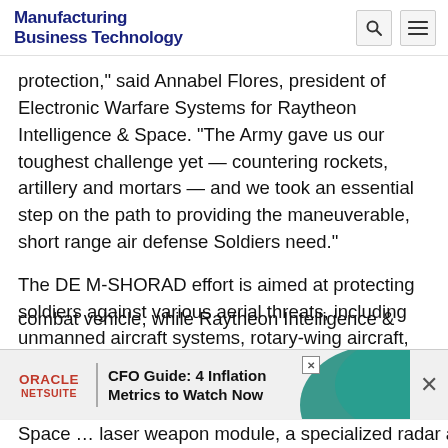Manufacturing Business Technology
protection," said Annabel Flores, president of Electronic Warfare Systems for Raytheon Intelligence & Space. "The Army gave us our toughest challenge yet — countering rockets, artillery and mortars — and we took an essential step on the path to providing the maneuverable, short range air defense Soldiers need."
The DE M-SHORAD effort is aimed at protecting soldiers against various aerial threats, including unmanned aircraft systems, rotary-wing aircraft, rockets, artillery and mortars. Kord serves as the primary integrator of the system on the Stryker combat vehicle, while Raytheon Intelligence & Space provides the laser weapon module, a specialized radar acquisition
[Figure (other): Oracle NetSuite advertisement banner: CFO Guide: 4 Inflation Metrics to Watch Now]